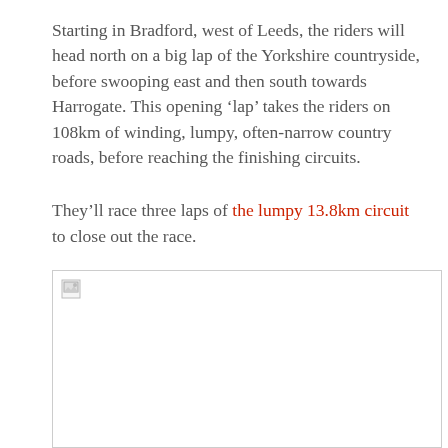Starting in Bradford, west of Leeds, the riders will head north on a big lap of the Yorkshire countryside, before swooping east and then south towards Harrogate. This opening ‘lap’ takes the riders on 108km of winding, lumpy, often-narrow country roads, before reaching the finishing circuits.
They’ll race three laps of the lumpy 13.8km circuit to close out the race.
[Figure (photo): Broken/unloaded image placeholder with a small broken image icon in the top-left corner]